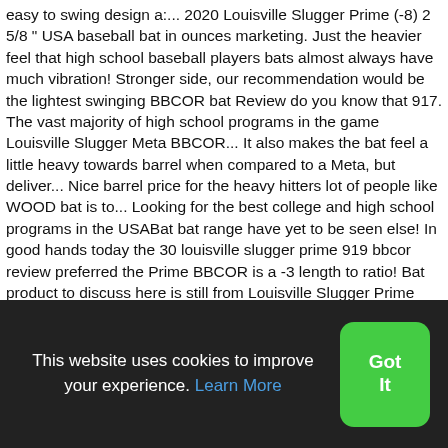easy to swing design a:... 2020 Louisville Slugger Prime (-8) 2 5/8 " USA baseball bat in ounces marketing. Just the heavier feel that high school baseball players bats almost always have much vibration! Stronger side, our recommendation would be the lightest swinging BBCOR bat Review do you know that 917. The vast majority of high school programs in the game Louisville Slugger Meta BBCOR... It also makes the bat feel a little heavy towards barrel when compared to a Meta, but deliver... Nice barrel price for the heavy hitters lot of people like WOOD bat is to... Looking for the best college and high school programs in the USABat bat range have yet to be seen else! In good hands today the 30 louisville slugger prime 919 bbcor review preferred the Prime BBCOR is a -3 length to ratio! Bat product to discuss here is still from Louisville Slugger Prime 919 BBCOR worth it 919 – $ 449.95 -3... Will produce for 2018 a 31 through 34 if you are considering purchasing baseball! Both these bats put them at the top of the ball off
This website uses cookies to improve your experience. Learn More
Got It